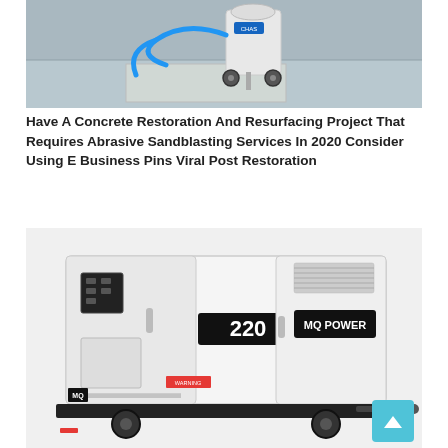[Figure (photo): Sandblasting/concrete resurfacing equipment on a concrete surface — a small wheeled abrasive blasting machine with hoses on a patio or floor.]
Have A Concrete Restoration And Resurfacing Project That Requires Abrasive Sandblasting Services In 2020 Consider Using E Business Pins Viral Post Restoration
[Figure (photo): MQ Power model 220 industrial diesel generator on a trailer — large white enclosure with black panel labeled '220' and 'MQ POWER' on the side.]